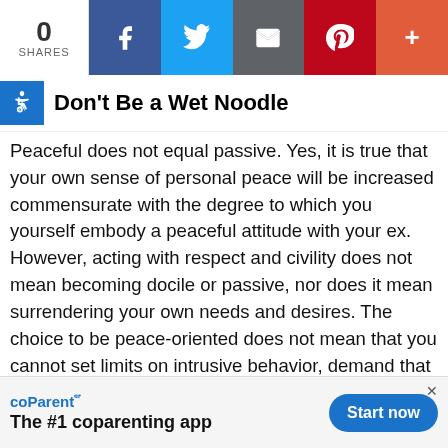0 SHARES | Facebook | Twitter | Email | Pinterest | More
Don’t Be a Wet Noodle
Peaceful does not equal passive. Yes, it is true that your own sense of personal peace will be increased commensurate with the degree to which you yourself embody a peaceful attitude with your ex. However, acting with respect and civility does not mean becoming docile or passive, nor does it mean surrendering your own needs and desires. The choice to be peace-oriented does not mean that you cannot set limits on intrusive behavior, demand that your boundaries be respected, refuse to tolerate verbal (and certainly physical) abuse, nor does it take away your responsibility to be sure that your children are not being abused or neglected. Embody self-respect and self-protection for your children. Make … if you have n…
[Figure (infographic): coParentᴾr app advertisement banner: 'The #1 coparenting app' with 'Start now' button]